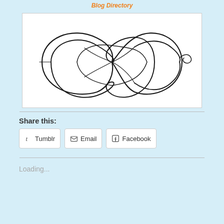Blog Directory
[Figure (illustration): Decorative calligraphic flourish — an ornate interlocking loop design in dark ink on a white background, resembling an infinity knot or pen flourish divider.]
Share this:
Tumblr   Email   Facebook
Loading...